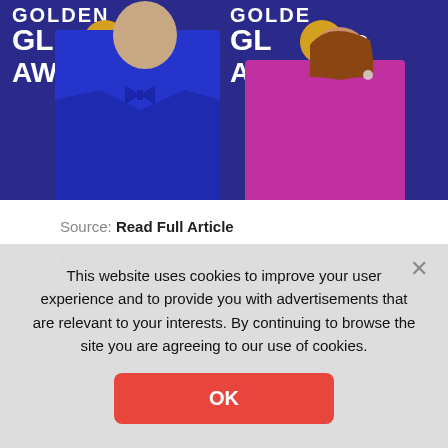[Figure (photo): Two people posing at a Golden Globes Awards event. A man in a royal blue suit and bow tie on the left, and a woman in a magenta/fuchsia off-shoulder dress on the right. Golden Globes Awards backdrop visible behind them.]
Source: Read Full Article
Related posts:
1. Ciara Says 'Awesome' Husband Russell Wilson
This website uses cookies to improve your user experience and to provide you with advertisements that are relevant to your interests. By continuing to browse the site you are agreeing to our use of cookies.
OK